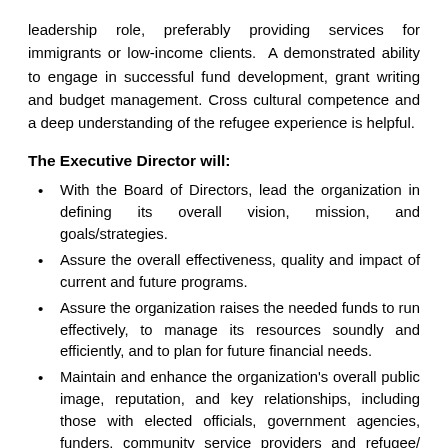leadership role, preferably providing services for immigrants or low-income clients. A demonstrated ability to engage in successful fund development, grant writing and budget management. Cross cultural competence and a deep understanding of the refugee experience is helpful.
The Executive Director will:
With the Board of Directors, lead the organization in defining its overall vision, mission, and goals/strategies.
Assure the overall effectiveness, quality and impact of current and future programs.
Assure the organization raises the needed funds to run effectively, to manage its resources soundly and efficiently, and to plan for future financial needs.
Maintain and enhance the organization's overall public image, reputation, and key relationships, including those with elected officials, government agencies, funders, community service providers and refugee/ immigrant communities.
Share accountability with the Board of Directors for the fiscal well-being of HEAL